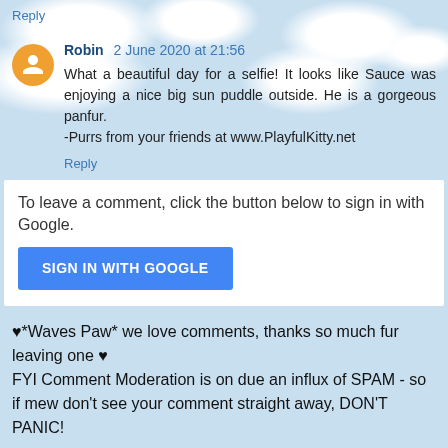Reply
Robin 2 June 2020 at 21:56
What a beautiful day for a selfie! It looks like Sauce was enjoying a nice big sun puddle outside. He is a gorgeous panfur.
-Purrs from your friends at www.PlayfulKitty.net
Reply
To leave a comment, click the button below to sign in with Google.
SIGN IN WITH GOOGLE
♥*Waves Paw* we love comments, thanks so much fur leaving one ♥
FYI Comment Moderation is on due an influx of SPAM - so if mew don't see your comment straight away, DON'T PANIC!